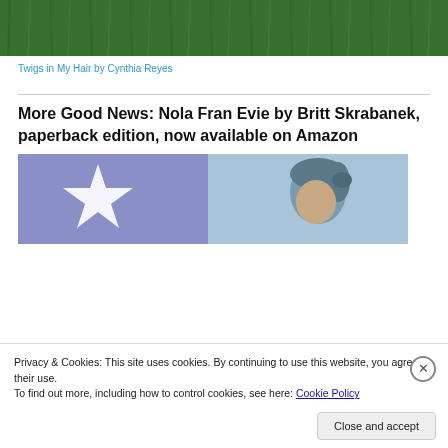[Figure (photo): Top portion of a grass/lawn image, dark green grass texture]
Twigs in My Hair by Cynthia Reyes
More Good News: Nola Fran Evie by Britt Skrabanek, paperback edition, now available on Amazon
[Figure (illustration): Book cover or promotional image with a blue/purple background showing a white star on the left and an illustrated figure of a woman with blue-tinted hair on the right]
Privacy & Cookies: This site uses cookies. By continuing to use this website, you agree to their use.
To find out more, including how to control cookies, see here: Cookie Policy
Close and accept